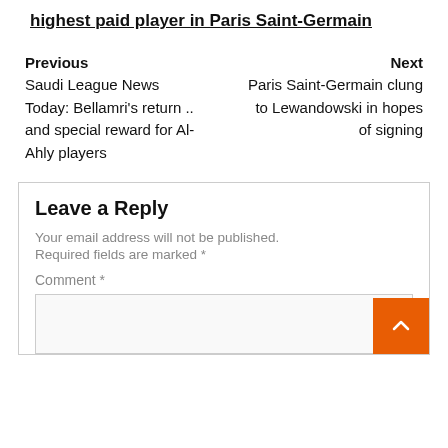highest paid player in Paris Saint-Germain
Previous
Saudi League News Today: Bellamri's return .. and special reward for Al-Ahly players
Next
Paris Saint-Germain clung to Lewandowski in hopes of signing
Leave a Reply
Your email address will not be published. Required fields are marked *
Comment *